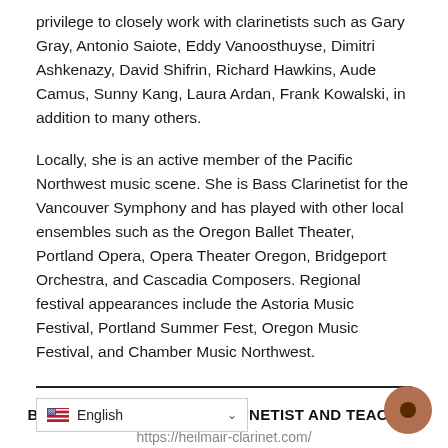privilege to closely work with clarinetists such as Gary Gray, Antonio Saiote, Eddy Vanoosthuyse, Dimitri Ashkenazy, David Shifrin, Richard Hawkins, Aude Camus, Sunny Kang, Laura Ardan, Frank Kowalski, in addition to many others.
Locally, she is an active member of the Pacific Northwest music scene. She is Bass Clarinetist for the Vancouver Symphony and has played with other local ensembles such as the Oregon Ballet Theater, Portland Opera, Opera Theater Oregon, Bridgeport Orchestra, and Cascadia Composers. Regional festival appearances include the Astoria Music Festival, Portland Summer Fest, Oregon Music Festival, and Chamber Music Northwest.
BARBARA HEILMAIR – CLARINETIST AND TEACHER
https://heilmair-clarinet.com/
TAGS
g educators
English